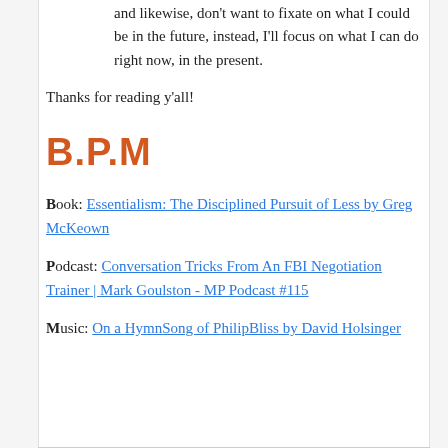and likewise, don't want to fixate on what I could be in the future, instead, I'll focus on what I can do right now, in the present.
Thanks for reading y'all!
B.P.M
Book: Essentialism: The Disciplined Pursuit of Less by Greg McKeown
Podcast: Conversation Tricks From An FBI Negotiation Trainer | Mark Goulston - MP Podcast #115
Music: On a HymnSong of PhilipBliss by David Holsinger